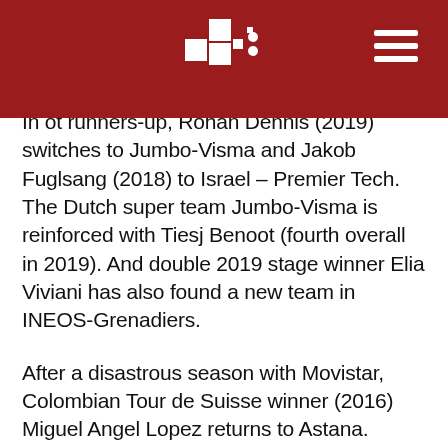[Header bar with logo and navigation]
In ot runners-up, Rohan Dennis (2019) switches to Jumbo-Visma and Jakob Fuglsang (2018) to Israel – Premier Tech. The Dutch super team Jumbo-Visma is reinforced with Tiesj Benoot (fourth overall in 2019). And double 2019 stage winner Elia Viviani has also found a new team in INEOS-Grenadiers.
After a disastrous season with Movistar, Colombian Tour de Suisse winner (2016) Miguel Angel Lopez returns to Astana.
IIt is encouraging that with EF Education (EF Education – TIBCO-SVB) and UAE (UAE Team ADQ), two further World Tour teams now also feature women's teams at the top level.